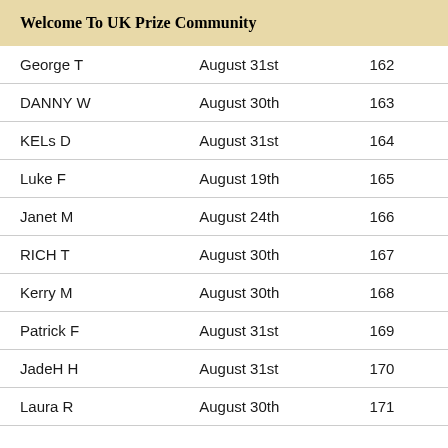Welcome To UK Prize Community
| George T | August 31st | 162 |
| DANNY W | August 30th | 163 |
| KELs D | August 31st | 164 |
| Luke F | August 19th | 165 |
| Janet M | August 24th | 166 |
| RICH T | August 30th | 167 |
| Kerry M | August 30th | 168 |
| Patrick F | August 31st | 169 |
| JadeH H | August 31st | 170 |
| Laura R | August 30th | 171 |